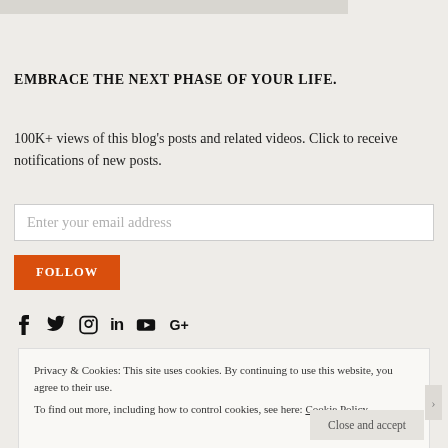EMBRACE THE NEXT PHASE OF YOUR LIFE.
100K+ views of this blog's posts and related videos. Click to receive notifications of new posts.
Enter your email address
FOLLOW
[Figure (infographic): Social media icons: Facebook, Twitter, Instagram, LinkedIn, YouTube, Google+]
Privacy & Cookies: This site uses cookies. By continuing to use this website, you agree to their use.
To find out more, including how to control cookies, see here: Cookie Policy
Close and accept